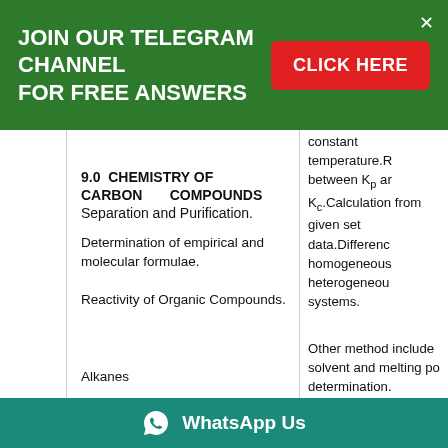JOIN OUR TELEGRAM CHANNEL FOR FREE ANSWERS
constant temperature.R between Kp and Kc.Calculation from given set data.Difference homogeneous heterogeneous systems.
9.0  CHEMISTRY OF CARBON      COMPOUNDS
Separation and Purification.
Determination of empirical and molecular formulae.
Reactivity of Organic Compounds.
Other method include solvent and melting po determination.
Alkanes
in:Detection o